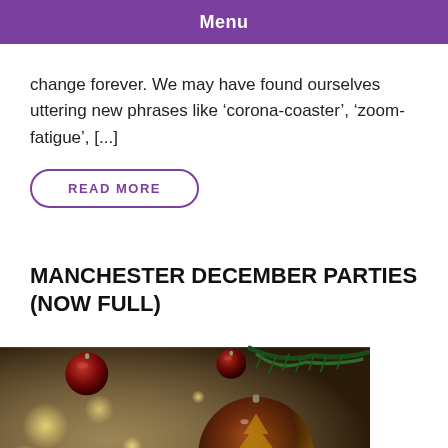Menu
change forever. We may have found ourselves uttering new phrases like ‘corona-coaster’, ‘zoom-fatigue’, [...]
READ MORE
MANCHESTER DECEMBER PARTIES (NOW FULL)
[Figure (photo): Close-up photo of red and gold Christmas ornament baubles hanging on a Christmas tree with bokeh lights in the background.]